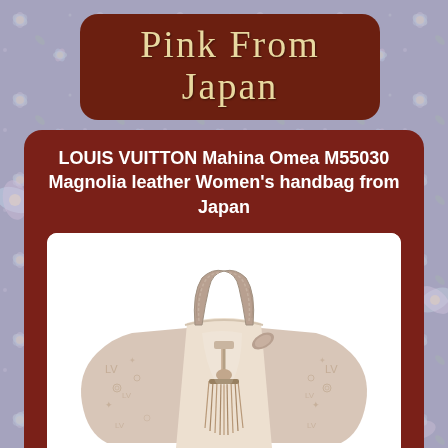Pink From Japan
LOUIS VUITTON Mahina Omea M55030 Magnolia leather Women's handbag from Japan
[Figure (photo): Louis Vuitton Mahina Omea M55030 handbag in Magnolia (pale pink/beige) leather with perforated LV monogram on sides, braided top handles, tassel detail, and gold-tone hardware, shown on white background]